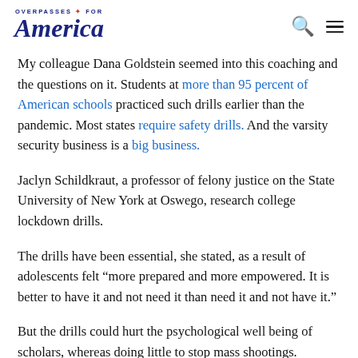OVERPASSES FOR America
My colleague Dana Goldstein seemed into this coaching and the questions on it. Students at more than 95 percent of American schools practiced such drills earlier than the pandemic. Most states require safety drills. And the varsity security business is a big business.
Jaclyn Schildkraut, a professor of felony justice on the State University of New York at Oswego, research college lockdown drills.
The drills have been essential, she stated, as a result of adolescents felt “more prepared and more empowered. It is better to have it and not need it than need it and not have it.”
But the drills could hurt the psychological well being of scholars, whereas doing little to stop mass shootings.